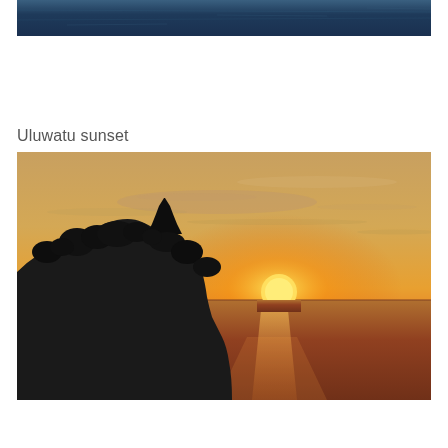[Figure (photo): Aerial or elevated view of dark blue ocean water surface, partial view at top of page]
Uluwatu sunset
[Figure (photo): Uluwatu sunset photo showing silhouette of Balinese temple structure and cliff with trees on left, orange and golden sun setting over calm ocean horizon, warm orange and yellow sky with wispy clouds]